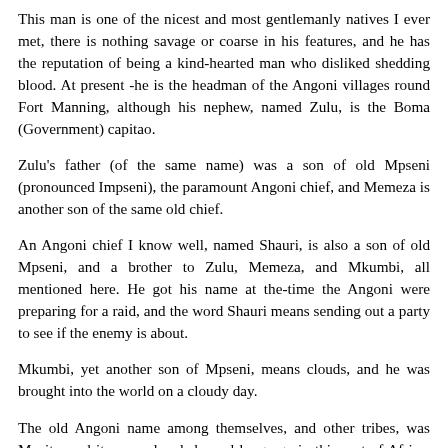This man is one of the nicest and most gentlemanly natives I ever met, there is nothing savage or coarse in his features, and he has the reputation of being a kind-hearted man who disliked shedding blood. At present -he is the headman of the Angoni villages round Fort Manning, although his nephew, named Zulu, is the Boma (Government) capitao.
Zulu's father (of the same name) was a son of old Mpseni (pronounced Impseni), the paramount Angoni chief, and Memeza is another son of the same old chief.
An Angoni chief I know well, named Shauri, is also a son of old Mpseni, and a brother to Zulu, Memeza, and Mkumbi, all mentioned here. He got his name at the-time the Angoni were preparing for a raid, and the word Shauri means sending out a party to see if the enemy is about.
Mkumbi, yet another son of Mpseni, means clouds, and he was brought into the world on a cloudy day.
The old Angoni name among themselves, and other tribes, was Mazite, and it was a dreaded word long ago in this part of Africa, for the Angoni are descended from the Zulus of Natal, probably the finest race of savages in the world, as they are splendidly built men with plenty of pluck